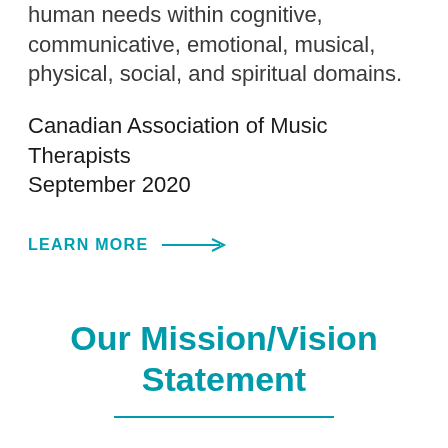human needs within cognitive, communicative, emotional, musical, physical, social, and spiritual domains.
Canadian Association of Music Therapists
September 2020
LEARN MORE →
Our Mission/Vision Statement